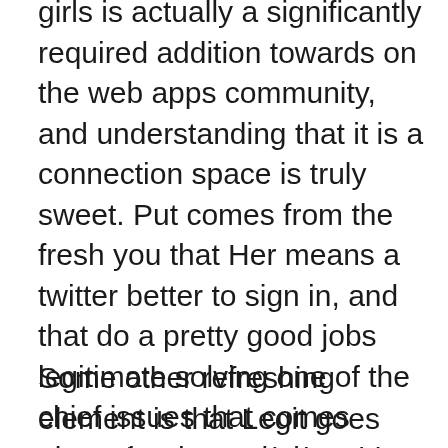girls is actually a significantly required addition towards on the web apps community, and understanding that it is a connection space is truly sweet. Put comes from the fresh you that Her means a twitter better to sign in, and that do a pretty good jobs legitimate solving one of the chief issues that comes along that have dating applications an effective lesbian: Relationships males posing once the ladies, trying to perform.
Some other refreshing element is that Legit goes way prior are a relationship software – that is, as opposed to including